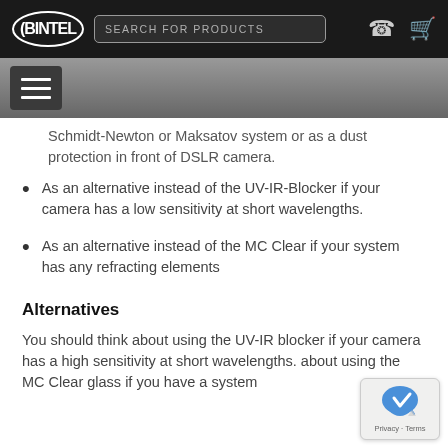BINTEL | SEARCH FOR PRODUCTS
Schmidt-Newton or Maksatov system or as a dust protection in front of DSLR camera.
As an alternative instead of the UV-IR-Blocker if your camera has a low sensitivity at short wavelengths.
As an alternative instead of the MC Clear if your system has any refracting elements
Alternatives
You should think about using the UV-IR blocker if your camera has a high sensitivity at short wavelengths. about using the MC Clear glass if you have a system